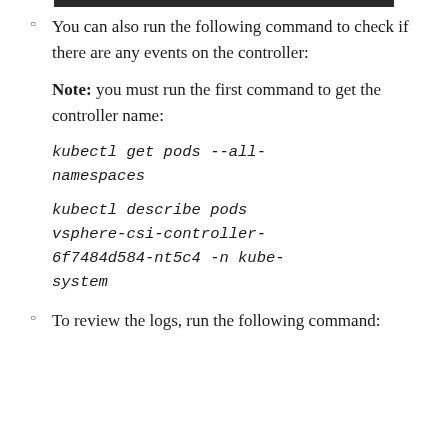You can also run the following command to check if there are any events on the controller:
Note: you must run the first command to get the controller name:
kubectl get pods --all-namespaces
kubectl describe pods vsphere-csi-controller-6f7484d584-nt5c4 -n kube-system
To review the logs, run the following command: